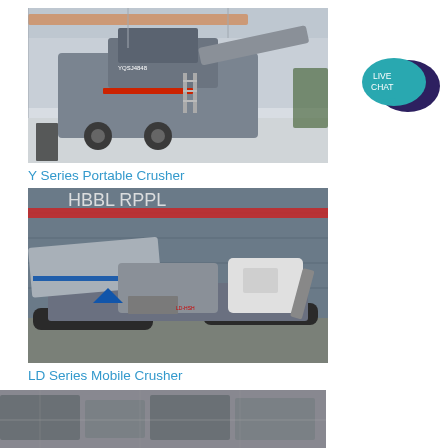[Figure (photo): Y Series Portable Crusher machine inside an industrial warehouse/factory, mounted on wheels, grey and white colored heavy crushing equipment]
Y Series Portable Crusher
[Figure (photo): LD Series Mobile Crusher machine photographed outdoors in front of a grey industrial building, track-mounted mobile crushing equipment]
LD Series Mobile Crusher
[Figure (photo): Partial view of another crushing/screening machine at the bottom of the page]
[Figure (logo): Live Chat bubble icon with teal/dark blue speech bubble and text LIVE CHAT]